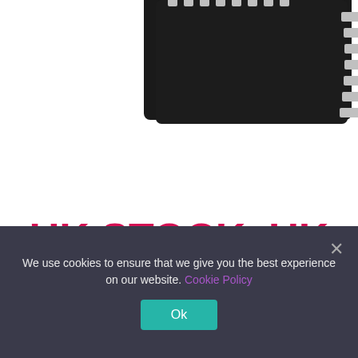[Figure (photo): Photo of a black DIP integrated circuit chip with silver pins, partially cropped, shown from above at an angle against a white background.]
UK STOCK, UK SELLER
Product Details
We use cookies to ensure that we give you the best experience on our website. Cookie Policy
Ok